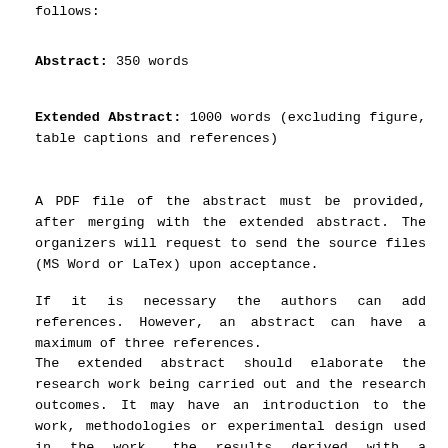follows:
Abstract: 350 words
Extended Abstract: 1000 words (excluding figure, table captions and references)
A PDF file of the abstract must be provided, after merging with the extended abstract. The organizers will request to send the source files (MS Word or LaTex) upon acceptance.
If it is necessary the authors can add references. However, an abstract can have a maximum of three references.
The extended abstract should elaborate the research work being carried out and the research outcomes. It may have an introduction to the work, methodologies or experimental design used in the work, the results derived with a discussion on them and the concluding remarks. References can be added but the number of references should not exceed 10. All